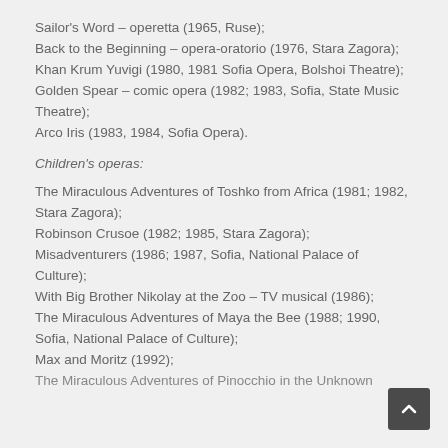Sailor's Word – operetta (1965, Ruse);
Back to the Beginning – opera-oratorio (1976, Stara Zagora);
Khan Krum Yuvigi (1980, 1981 Sofia Opera, Bolshoi Theatre);
Golden Spear – comic opera (1982; 1983, Sofia, State Music Theatre);
Arco Iris (1983, 1984, Sofia Opera).
Children's operas:
The Miraculous Adventures of Toshko from Africa (1981; 1982, Stara Zagora);
Robinson Crusoe (1982; 1985, Stara Zagora);
Misadventurers (1986; 1987, Sofia, National Palace of Culture);
With Big Brother Nikolay at the Zoo – TV musical (1986);
The Miraculous Adventures of Maya the Bee (1988; 1990, Sofia, National Palace of Culture);
Max and Moritz (1992);
The Miraculous Adventures of Pinocchio in the Unknown…